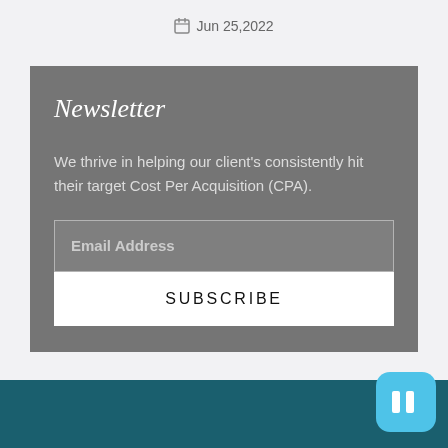Jun 25,2022
Newsletter
We thrive in helping our client's consistently hit their target Cost Per Acquisition (CPA).
Email Address
SUBSCRIBE